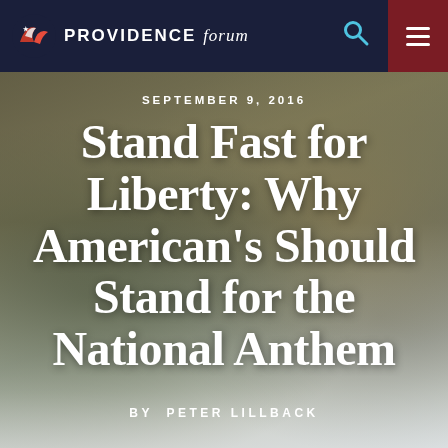PROVIDENCE forum
[Figure (photo): Veteran in military uniform saluting during a parade, with soldiers and American flags visible in the background along a city street.]
SEPTEMBER 9, 2016
Stand Fast for Liberty: Why American's Should Stand for the National Anthem
BY PETER LILLBACK